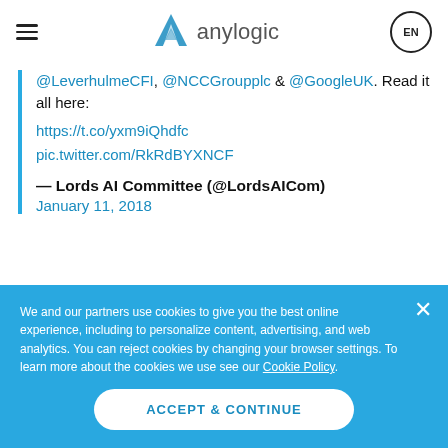AnyLogic — EN
@LeverhulmeCFI, @NCCGroupplc & @GoogleUK. Read it all here: https://t.co/yxm9iQhdfc pic.twitter.com/RkRdBYXNCF
— Lords AI Committee (@LordsAICom)
January 11, 2018
We and our partners use cookies to give you the best online experience, including to personalize content, advertising, and web analytics. You can reject cookies by changing your browser settings. To learn more about the cookies we use see our Cookie Policy.
ACCEPT & CONTINUE